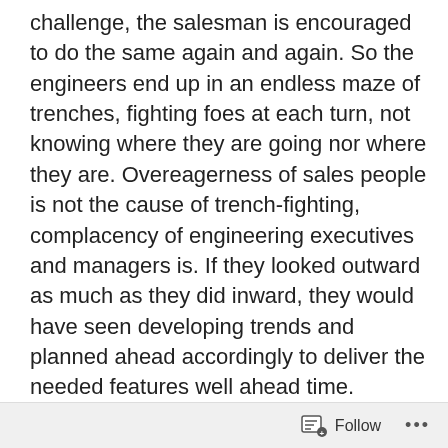challenge, the salesman is encouraged to do the same again and again. So the engineers end up in an endless maze of trenches, fighting foes at each turn, not knowing where they are going nor where they are. Overeagerness of sales people is not the cause of trench-fighting, complacency of engineering executives and managers is. If they looked outward as much as they did inward, they would have seen developing trends and planned ahead accordingly to deliver the needed features well ahead time.
It's not that they don't read the industry news. They do but they read industry news like they would read NY Times instead of reading them like a fisherman watching clouds forming in the horizon. It wouldn't be so bad if they listened to advisors. With each client, I go out of my way to inform
Follow ···